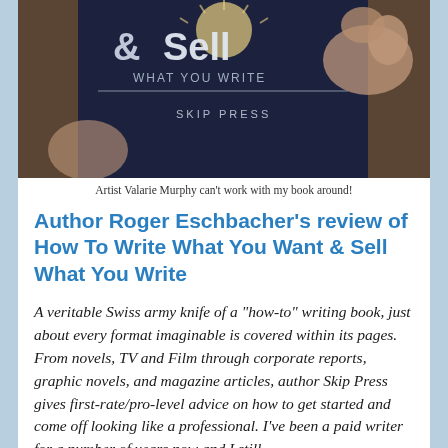[Figure (photo): A photo of a book titled '& Sell What You Write' by Skip Press, held by someone's hands against a light background.]
Artist Valarie Murphy can't work with my book around!
Author Roger Eschbacher's review of How To Write What You Want & Sell What You Write
A veritable Swiss army knife of a "how-to" writing book, just about every format imaginable is covered within its pages. From novels, TV and Film through corporate reports, graphic novels, and magazine articles, author Skip Press gives first-rate/pro-level advice on how to get started and come off looking like a professional. I've been a paid writer for a number of years now and I still